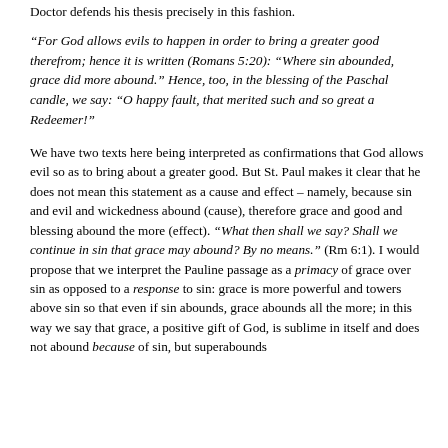Doctor defends his thesis precisely in this fashion.
“For God allows evils to happen in order to bring a greater good therefrom; hence it is written (Romans 5:20): “Where sin abounded, grace did more abound.” Hence, too, in the blessing of the Paschal candle, we say: “O happy fault, that merited such and so great a Redeemer!”
We have two texts here being interpreted as confirmations that God allows evil so as to bring about a greater good. But St. Paul makes it clear that he does not mean this statement as a cause and effect – namely, because sin and evil and wickedness abound (cause), therefore grace and good and blessing abound the more (effect). “What then shall we say? Shall we continue in sin that grace may abound? By no means.” (Rm 6:1). I would propose that we interpret the Pauline passage as a primacy of grace over sin as opposed to a response to sin: grace is more powerful and towers above sin so that even if sin abounds, grace abounds all the more; in this way we say that grace, a positive gift of God, is sublime in itself and does not abound because of sin, but superabounds